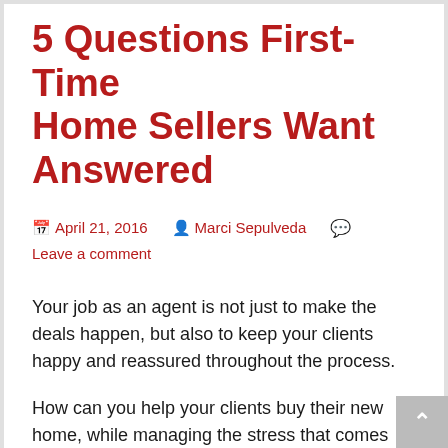5 Questions First-Time Home Sellers Want Answered
April 21, 2016  Marci Sepulveda  Leave a comment
Your job as an agent is not just to make the deals happen, but also to keep your clients happy and reassured throughout the process.
How can you help your clients buy their new home, while managing the stress that comes with selling their current home on the same timeline? Start things off on the right foot by focusing on these five questions about the home-selling process that sellers around the country say they wish they'd had the answers to before listing their first home, according to Trulia.